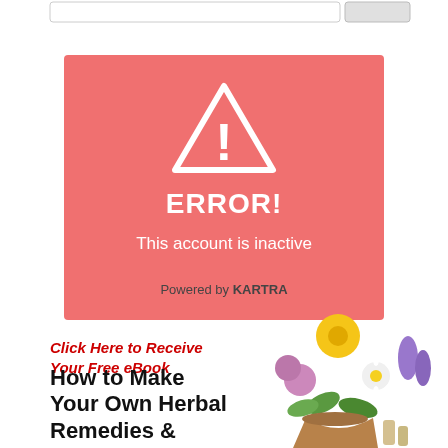[Figure (screenshot): Search bar with button at top of page]
[Figure (infographic): Red/salmon error box with white warning triangle icon, ERROR! title, 'This account is inactive' message, and 'Powered by KARTRA' footer]
Click Here to Receive Your Free eBook
How to Make Your Own Herbal Remedies &
[Figure (photo): Colorful herbal flowers and plants arrangement in a pot, including yellow dandelion, purple clover, white daisy, lavender, on the right side of the promo section]